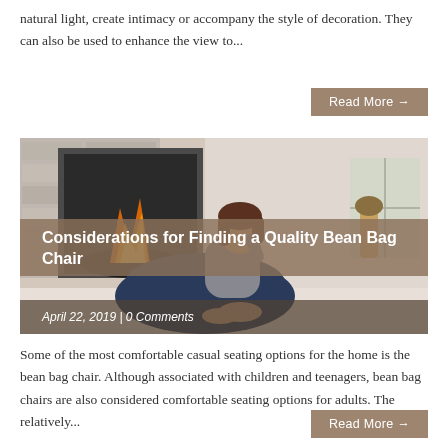natural light, create intimacy or accompany the style of decoration. They can also be used to enhance the view to...
Read More →
[Figure (photo): Woman sitting on a large dark bean bag chair in front of a fireplace in a living room]
Considerations for Finding a Quality Bean Bag Chair
April 22, 2019 | 0 Comments
Some of the most comfortable casual seating options for the home is the bean bag chair. Although associated with children and teenagers, bean bag chairs are also considered comfortable seating options for adults. The relatively...
Read More →